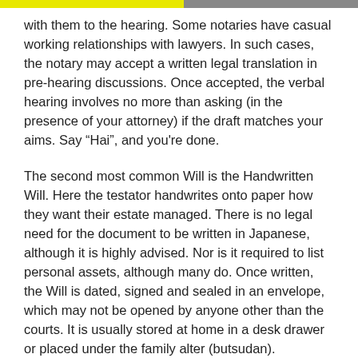with them to the hearing. Some notaries have casual working relationships with lawyers. In such cases, the notary may accept a written legal translation in pre-hearing discussions. Once accepted, the verbal hearing involves no more than asking (in the presence of your attorney) if the draft matches your aims. Say “Hai”, and you're done.
The second most common Will is the Handwritten Will. Here the testator handwrites onto paper how they want their estate managed. There is no legal need for the document to be written in Japanese, although it is highly advised. Nor is it required to list personal assets, although many do. Once written, the Will is dated, signed and sealed in an envelope, which may not be opened by anyone other than the courts. It is usually stored at home in a desk drawer or placed under the family alter (butsudan).
While cheap and cheerful, the Handwritten Will may be voided by the courts. For instance, it could be deemed a forgery or thrown out on a technicality.